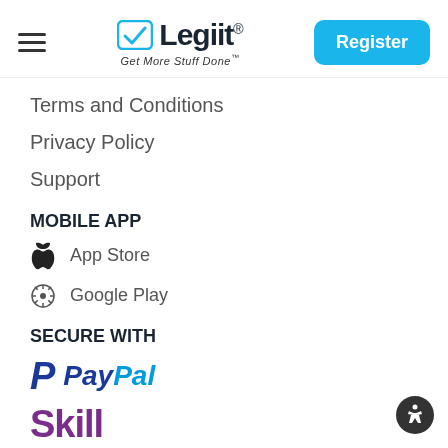Legiit — Get More Stuff Done — Register
Terms and Conditions
Privacy Policy
Support
MOBILE APP
App Store
Google Play
SECURE WITH
[Figure (logo): PayPal logo]
[Figure (logo): Skrill logo (partial)]